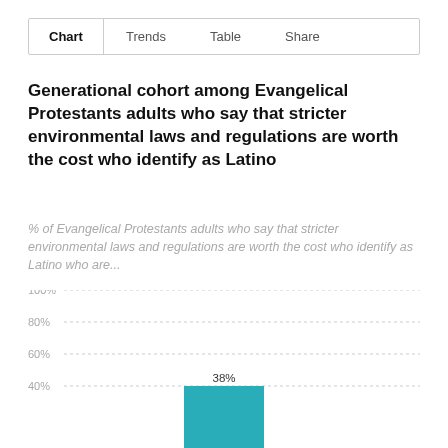Chart  Trends  Table  Share
Generational cohort among Evangelical Protestants adults who say that stricter environmental laws and regulations are worth the cost who identify as Latino
% of Evangelical Protestants adults who say that stricter environmental laws and regulations are worth the cost who identify as Latino who are...
[Figure (bar-chart): Generational cohort among Evangelical Protestants adults who say that stricter environmental laws and regulations are worth the cost who identify as Latino]